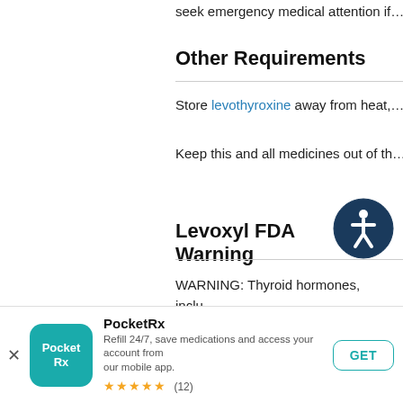seek emergency medical attention if…
Other Requirements
Store levothyroxine away from heat,…
Keep this and all medicines out of th…
Levoxyl FDA Warning
WARNING: Thyroid hormones, inclu… USP, either alone or with other thera… treatment of obesity for weight loss. … range of daily hormonal requirement…
[Figure (illustration): Accessibility icon: circular dark blue badge with white wheelchair/person symbol]
PocketRx — Refill 24/7, save medications and access your account from our mobile app. ★★★★★ (12)